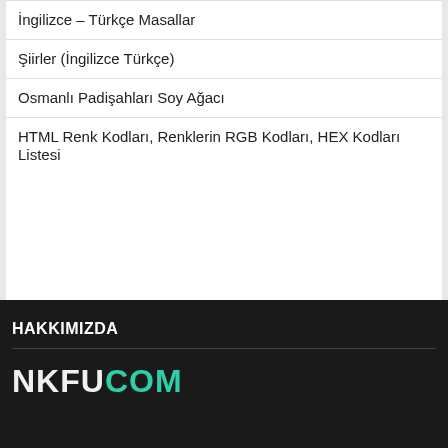İngilizce – Türkçe Masallar
Şiirler (İngilizce Türkçe)
Osmanlı Padişahları Soy Ağacı
HTML Renk Kodları, Renklerin RGB Kodları, HEX Kodları Listesi
HAKKIMIZDA NKFUCOM